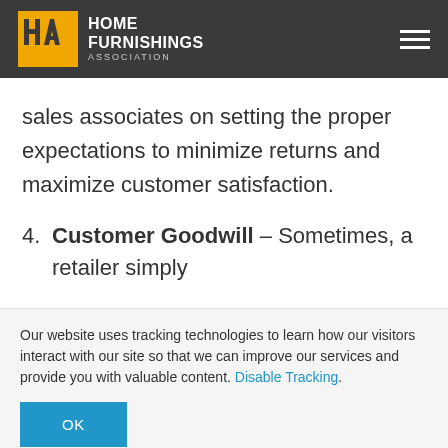Home Furnishings Association
sales associates on setting the proper expectations to minimize returns and maximize customer satisfaction.
4. Customer Goodwill – Sometimes, a retailer simply
Our website uses tracking technologies to learn how our visitors interact with our site so that we can improve our services and provide you with valuable content. Disable Tracking.
OK